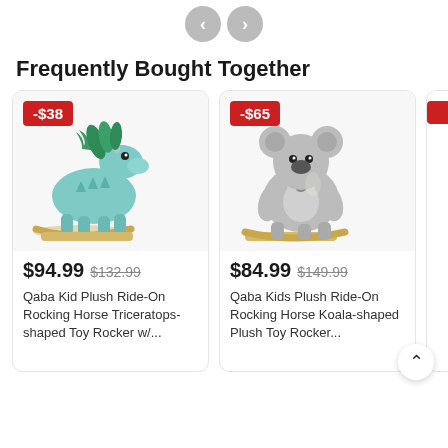[Figure (screenshot): Navigation arrows (prev/next) at top of page]
Frequently Bought Together
[Figure (photo): Qaba Kid Plush Ride-On Rocking Horse Triceratops-shaped Toy Rocker, teal/green dinosaur on wooden rockers, discount badge -$38, price $94.99 was $132.99]
[Figure (photo): Qaba Kids Plush Ride-On Rocking Horse Koala-shaped Plush Toy Rocker, gray koala with baby on wooden rockers, discount badge -$65, price $84.99 was $149.99]